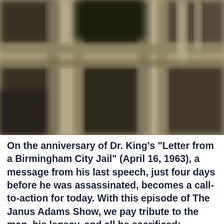[Figure (photo): Blurred close-up photograph of jail cell bars, showing a grid of metal bars in muted tan, olive, and dark shadow tones suggesting a prison or jail setting.]
On the anniversary of Dr. King's "Letter from a Birmingham City Jail" (April 16, 1963), a message from his last speech, just four days before he was assassinated, becomes a call-to-action for today. With this episode of The Janus Adams Show, we pay tribute to the man, his legacy, and all he sacrificed: THANK YOU, DR. KING.